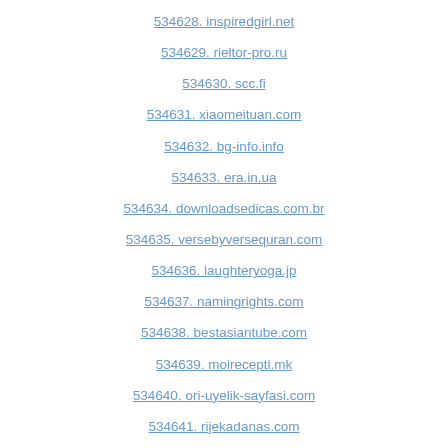534628. inspiredgirl.net
534629. rieltor-pro.ru
534630. scc.fi
534631. xiaomeituan.com
534632. bg-info.info
534633. era.in.ua
534634. downloadsedicas.com.br
534635. versebyversequran.com
534636. laughteryoga.jp
534637. namingrights.com
534638. bestasiantube.com
534639. moirecepti.mk
534640. ori-uyelik-sayfasi.com
534641. rijekadanas.com